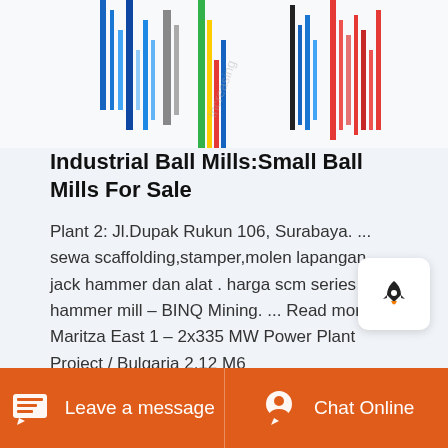[Figure (screenshot): Partial top image showing colorful bar chart or data visualization with blues, reds, greens, and grays on a white background, partially cropped at top]
Industrial Ball Mills:Small Ball Mills For Sale
Plant 2: Jl.Dupak Rukun 106, Surabaya. ... sewa scaffolding,stamper,molen lapangan jack hammer dan alat . harga scm series coal hammer mill – BINQ Mining. ... Read more Maritza East 1 – 2x335 MW Power Plant Project / Bulgaria 2.12 M6
Leave a message   Chat Online